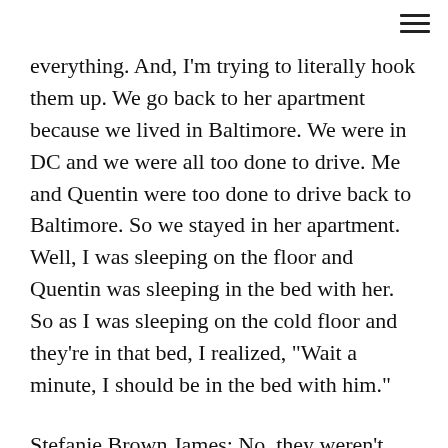everything. And, I'm trying to literally hook them up. We go back to her apartment because we lived in Baltimore. We were in DC and we were all too done to drive. Me and Quentin were too done to drive back to Baltimore. So we stayed in her apartment. Well, I was sleeping on the floor and Quentin was sleeping in the bed with her. So as I was sleeping on the cold floor and they're in that bed, I realized, "Wait a minute, I should be in the bed with him."
Stefanie Brown James: No, they weren't doing anything. Of course, because, well, you never know they could have been, but I was sleeping right there on the floor. And that's when I was like, "Oh my gosh, I have feelings for him." And I should not have tried to hook him up with